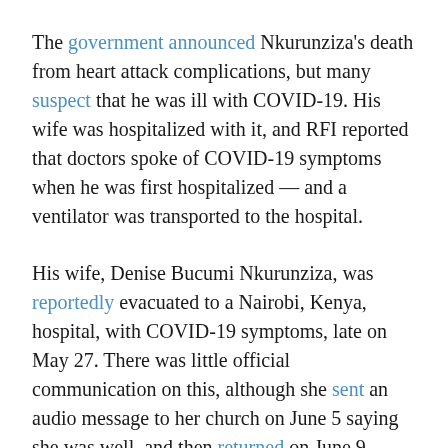The government announced Nkurunziza's death from heart attack complications, but many suspect that he was ill with COVID-19. His wife was hospitalized with it, and RFI reported that doctors spoke of COVID-19 symptoms when he was first hospitalized — and a ventilator was transported to the hospital.
His wife, Denise Bucumi Nkurunziza, was reportedly evacuated to a Nairobi, Kenya, hospital, with COVID-19 symptoms, late on May 27. There was little official communication on this, although she sent an audio message to her church on June 5 saying she was well, and then returned on June 9.
Medical staff expressed alarm recently by the rise in cases with COVID-19 symptoms. The lack of testing capacity, though, means the situation is suspected to be worse than reported — only 83 cases registered — with authorities during the pandemic, as per calling World...